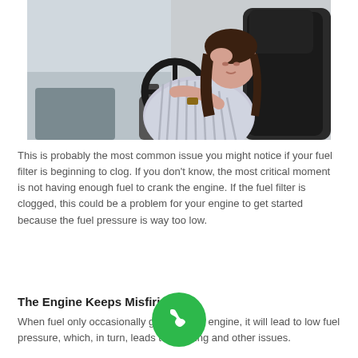[Figure (photo): A stressed woman sitting in a car, leaning her head on her hand while gripping the steering wheel, wearing a striped shirt and a watch.]
This is probably the most common issue you might notice if your fuel filter is beginning to clog. If you don't know, the most critical moment is not having enough fuel to crank the engine. If the fuel filter is clogged, this could be a problem for your engine to get started because the fuel pressure is way too low.
The Engine Keeps Misfiring
When fuel only occasionally gets into the engine, it will lead to low fuel pressure, which, in turn, leads to misfiring and other issues.